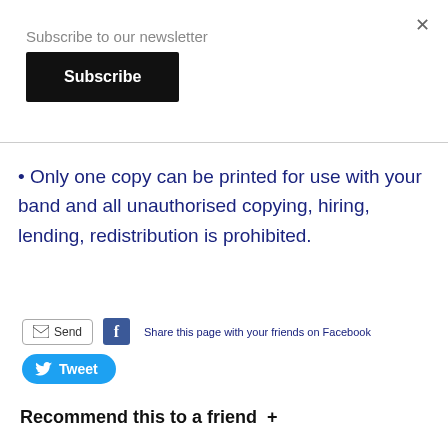Subscribe to our newsletter
Subscribe
• Only one copy can be printed for use with your band and all unauthorised copying, hiring, lending, redistribution is prohibited.
Send  f  Share this page with your friends on Facebook
Tweet
Recommend this to a friend +